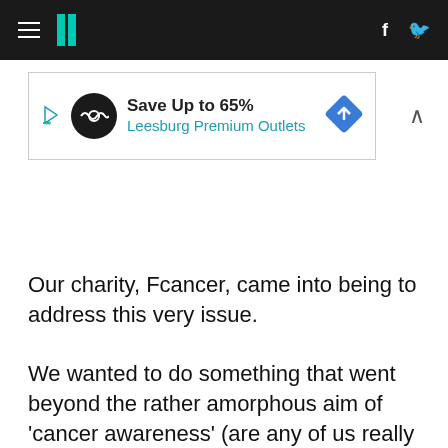HuffPost navigation header with hamburger menu, logo, Facebook and Twitter icons
[Figure (screenshot): Advertisement banner: Save Up to 65% Leesburg Premium Outlets]
Our charity, Fcancer, came into being to address this very issue.
We wanted to do something that went beyond the rather amorphous aim of 'cancer awareness' (are any of us really unaware of cancer?) and instead give people the tools they need to actually do something in the battle against cancer.